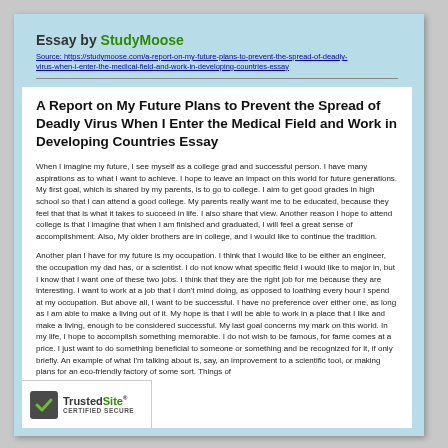Essay by StudyMoose
Source: https://studymoose.com/a-report-on-my-future-plans-to-prevent-the-spread-of-deadly-virus-when-i-enter-the-medical-field-and-work-in-developing-countries-essay
A Report on My Future Plans to Prevent the Spread of Deadly Virus When I Enter the Medical Field and Work in Developing Countries Essay
When I imagine my future, I see myself as a college grad and successful person. I have many aspirations as to what I want to achieve. I hope to leave an impact on this world for future generations. My first goal, which is shared by my parents, is to go to college. I aim to get good grades in high school so that I can attend a good college. My parents really want me to be educated, because they feel that that is what it takes to succeed in life. I also share that view. Another reason I hope to attend college is that I imagine that when I am finished and graduated, I will feel a great sense of accomplishment. Also, My older brothers are in college, and I would like to continue the tradition.
Another plan I have for my future is my occupation. I think that I would like to be either an engineer, the occupation my dad has, or a scientist. I do not know what specific field I would like to major in, but I know that I want one of these two jobs. I think that they are the right job for me because they are interesting. I want to work at a job that I don't mind doing, as opposed to loathing every hour I spend at my occupation. But above all, I want to be successful. I have no preference over either one, as long as I am able to make a living out of it. My hope is that I will be able to work in a place that I like and make a living, enough to be considered successful. My last goal concerns my mark on this world. In my life, I hope to accomplish something memorable. I do not wish to be famous, for fame comes at a price. I just want to do something beneficial to someone or something and be recognized for it, if only briefly. An example of what I'm talking about is, say, an improvement to a scientific tool, or making plans for an eco-friendly factory of some sort. Things of this magnitude is what I hope to accomplish. I want to be able to look back and feel that I contributed something, however small, to this world for future generations.